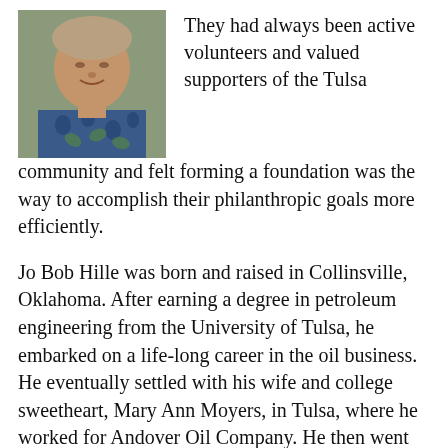[Figure (photo): Portrait photo of a person wearing a floral/patterned shirt]
They had always been active volunteers and valued supporters of the Tulsa community and felt forming a foundation was the way to accomplish their philanthropic goals more efficiently.
Jo Bob Hille was born and raised in Collinsville, Oklahoma. After earning a degree in petroleum engineering from the University of Tulsa, he embarked on a life-long career in the oil business. He eventually settled with his wife and college sweetheart, Mary Ann Moyers, in Tulsa, where he worked for Andover Oil Company. He then went on to co-found Vintage Petroleum in 1983, a publicly traded oil and natural gas company on the New York Stock Exchange. Jo Bob held various